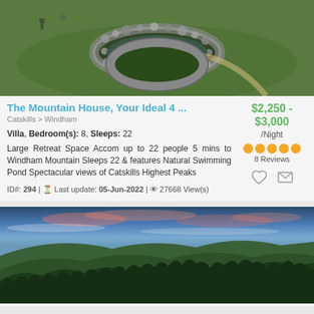[Figure (photo): Aerial view of a property with a natural stone pond and green lawn]
The Mountain House, Your Ideal 4 ...
Catskills > Windham
$2,250 - $3,000 /Night
Villa, Bedroom(s): 8, Sleeps: 22
Large Retreat Space Accom up to 22 people 5 mins to Windham Mountain Sleeps 22 & features Natural Swimming Pond Spectacular views of Catskills Highest Peaks
8 Reviews
ID#: 294 | Last update: 05-Jun-2022 | 27668 View(s)
[Figure (photo): Mountain landscape at dusk with forested hills and colorful sky]